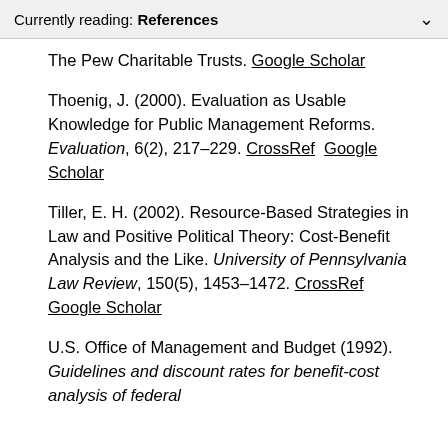Currently reading: References
The Pew Charitable Trusts. Google Scholar
Thoenig, J. (2000). Evaluation as Usable Knowledge for Public Management Reforms. Evaluation, 6(2), 217–229. CrossRef  Google Scholar
Tiller, E. H. (2002). Resource-Based Strategies in Law and Positive Political Theory: Cost-Benefit Analysis and the Like. University of Pennsylvania Law Review, 150(5), 1453–1472. CrossRef  Google Scholar
U.S. Office of Management and Budget (1992). Guidelines and discount rates for benefit-cost analysis of federal